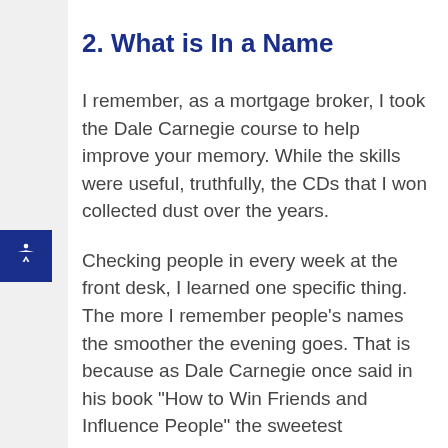2. What is In a Name
I remember, as a mortgage broker, I took the Dale Carnegie course to help improve your memory. While the skills were useful, truthfully, the CDs that I won collected dust over the years.
Checking people in every week at the front desk, I learned one specific thing. The more I remember people’s names the smoother the evening goes. That is because as Dale Carnegie once said in his book “How to Win Friends and Influence People” the sweetest